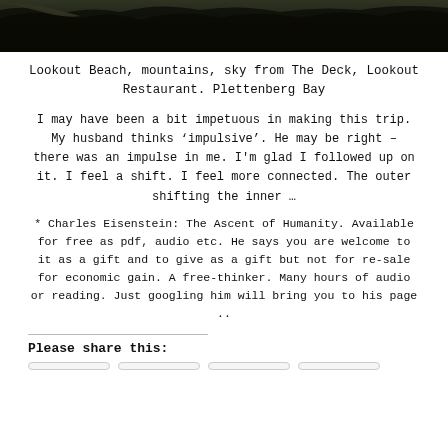[Figure (photo): Dark photo strip showing mountains, trees, sky — top portion of a landscape photo taken from The Deck, Lookout Restaurant, Plettenberg Bay]
Lookout Beach, mountains, sky from The Deck, Lookout Restaurant. Plettenberg Bay
I may have been a bit impetuous in making this trip. My husband thinks ‘impulsive’. He may be right – there was an impulse in me. I'm glad I followed up on it. I feel a shift. I feel more connected. The outer shifting the inner ...
* Charles Eisenstein: The Ascent of Humanity. Available for free as pdf, audio etc. He says you are welcome to it as a gift and to give as a gift but not for re-sale for economic gain. A free-thinker. Many hours of audio or reading. Just googling him will bring you to his page ..
Please share this: